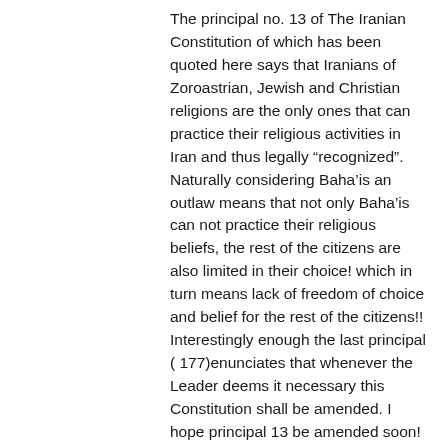The principal no. 13 of The Iranian Constitution of which has been quoted here says that Iranians of Zoroastrian, Jewish and Christian religions are the only ones that can practice their religious activities in Iran and thus legally “recognized”. Naturally considering Baha’is an outlaw means that not only Baha’is can not practice their religious beliefs, the rest of the citizens are also limited in their choice! which in turn means lack of freedom of choice and belief for the rest of the citizens!! Interestingly enough the last principal ( 177)enunciates that whenever the Leader deems it necessary this Constitution shall be amended. I hope principal 13 be amended soon!